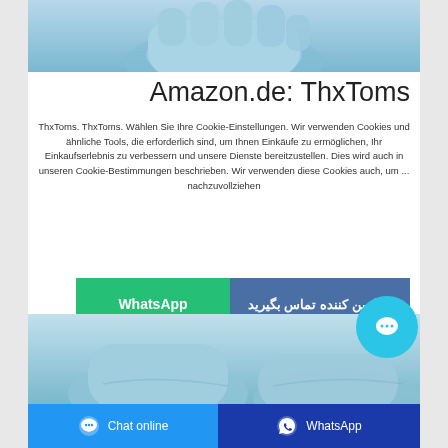[Figure (photo): Top portion of a hand wearing a light blue medical/latex glove against a sky blue background]
Amazon.de: ThxToms
ThxToms. ThxToms. Wählen Sie Ihre Cookie-Einstellungen. Wir verwenden Cookies und ähnliche Tools, die erforderlich sind, um Ihnen Einkäufe zu ermöglichen, Ihr Einkaufserlebnis zu verbessern und unsere Dienste bereitzustellen. Dies wird auch in unseren Cookie-Bestimmungen beschrieben. Wir verwenden diese Cookies auch, um ... nachzuvollziehen
[Figure (screenshot): Two buttons side by side: green WhatsApp button on left, dark blue Farsi contact supplier button on right]
[Figure (photo): Bottom portion showing light blue medical/latex gloves, partially cropped]
[Figure (screenshot): Footer bar with blue Chat online button on left and dark blue WhatsApp button on right]